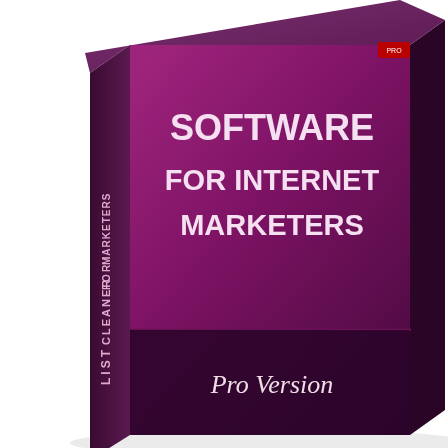[Figure (illustration): A purple/magenta software box product image with text 'Software for Internet Marketers' and 'Pro Version' on the front face, and 'List Cleaner For Marketers' on the side spine.]
Easily Clean Your List using the List Cleaner Software!
7.My Ad Rotator Software
[Figure (illustration): A dark/black software product box, partially visible at the bottom of the page.]